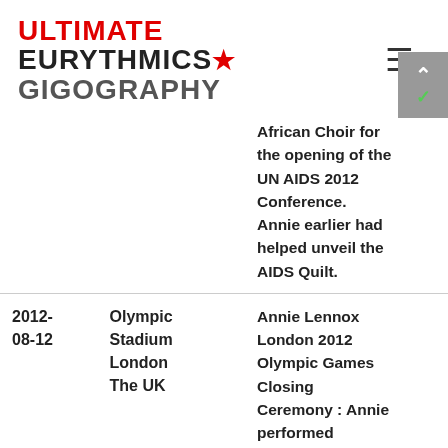ULTIMATE EURYTHMICS★ GIGOGRAPHY
| Date | Venue | Notes |
| --- | --- | --- |
|  |  | African Choir for the opening of the UN AIDS 2012 Conference. Annie earlier had helped unveil the AIDS Quilt. |
| 2012-08-12 | Olympic Stadium London The UK | Annie Lennox London 2012 Olympic Games Closing Ceremony : Annie performed |